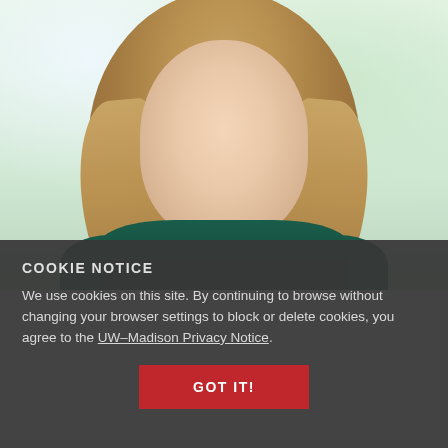[Figure (photo): Professional headshot of a smiling woman with long blonde hair wearing a dark teal sweater, photographed against a blurred light green/white background.]
COOKIE NOTICE
We use cookies on this site. By continuing to browse without changing your browser settings to block or delete cookies, you agree to the UW–Madison Privacy Notice.
GOT IT!